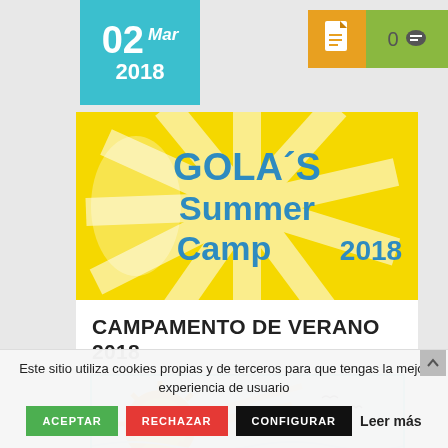02 Mar 2018
[Figure (illustration): Icon badges: orange document icon and green comment badge with '0']
[Figure (illustration): GOLA'S Summer Camp 2018 banner with yellow sunburst background and blue text]
CAMPAMENTO DE VERANO 2018
[Figure (illustration): Second illustration preview showing sun with rays and birds on light blue background]
Este sitio utiliza cookies propias y de terceros para que tengas la mejor experiencia de usuario
ACEPTAR   RECHAZAR   CONFIGURAR   Leer más